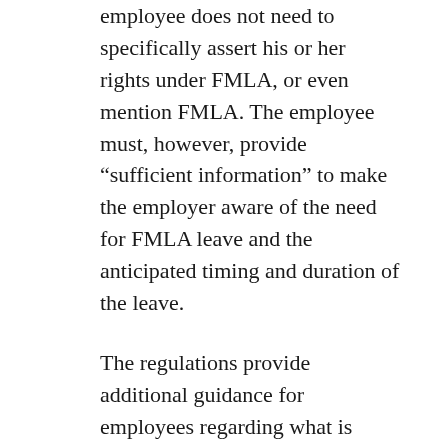employee does not need to specifically assert his or her rights under FMLA, or even mention FMLA. The employee must, however, provide “sufficient information” to make the employer aware of the need for FMLA leave and the anticipated timing and duration of the leave.
The regulations provide additional guidance for employees regarding what is “sufficient information.” Depending on the situation, such information may include that a condition renders the employee unable to perform the functions of the job; that the employee is pregnant or has been hospitalized overnight; whether the employee or the employee’s family member is under the continuing care of a health care